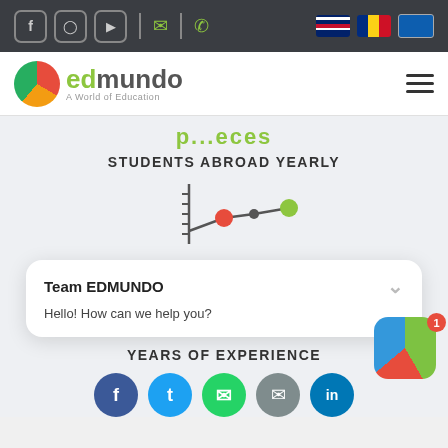Social icons bar with Facebook, Instagram, YouTube, email, phone, and language flags (UK, Romania, Greece)
[Figure (logo): Edmundo logo - globe icon with text 'edmundo A World of Education']
p...eces
STUDENTS ABROAD YEARLY
[Figure (infographic): Line chart icon/infographic with dots connected by lines, representing student numbers]
Team EDMUNDO
Hello! How can we help you?
YEARS OF EXPERIENCE
[Figure (infographic): Social share buttons row: Facebook, Twitter, WhatsApp, Email, LinkedIn]